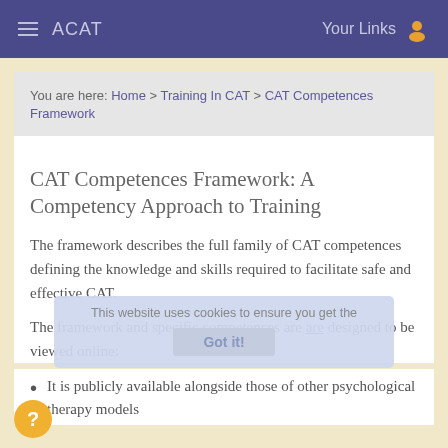ACAT   Your Links
You are here: Home > Training In CAT > CAT Competences Framework
CAT Competences Framework: A Competency Approach to Training
The framework describes the full family of CAT competences defining the knowledge and skills required to facilitate safe and effective CAT.
The framework and specific competences are are designed to be viewed online:
This website uses cookies to ensure you get the
Got it!
It is publicly available alongside those of other psychological therapy models